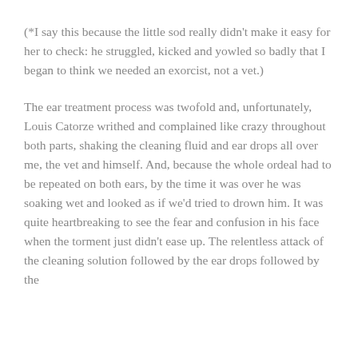(*I say this because the little sod really didn't make it easy for her to check: he struggled, kicked and yowled so badly that I began to think we needed an exorcist, not a vet.)
The ear treatment process was twofold and, unfortunately, Louis Catorze writhed and complained like crazy throughout both parts, shaking the cleaning fluid and ear drops all over me, the vet and himself. And, because the whole ordeal had to be repeated on both ears, by the time it was over he was soaking wet and looked as if we'd tried to drown him. It was quite heartbreaking to see the fear and confusion in his face when the torment just didn't ease up. The relentless attack of the cleaning solution followed by the ear drops followed by the